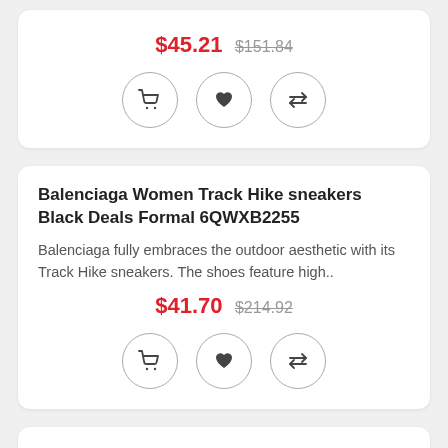$45.21  $151.84
[Figure (other): Three circular icon buttons: shopping cart, heart/wishlist, compare arrows]
Balenciaga Women Track Hike sneakers Black Deals Formal 6QWXB2255
Balenciaga fully embraces the outdoor aesthetic with its Track Hike sneakers. The shoes feature high..
$41.70  $214.92
[Figure (other): Three circular icon buttons: shopping cart, heart/wishlist, compare arrows]
Christian Louboutin Women Fun leather sneakers Bianco/Ab Number 1 Selling Formal CN0IZ7703
These white Fun sneakers are a signature Christian Louboutin design. Made in Italy from smooth lea..